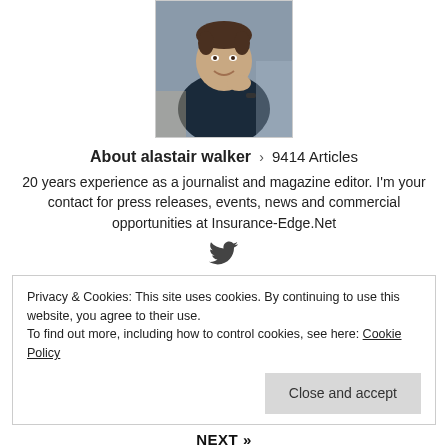[Figure (photo): Headshot of Alastair Walker, a middle-aged man in a dark top, resting his chin on his hand, smiling.]
About alastair walker › 9414 Articles
20 years experience as a journalist and magazine editor. I'm your contact for press releases, events, news and commercial opportunities at Insurance-Edge.Net
[Figure (other): Twitter bird icon]
Privacy & Cookies: This site uses cookies. By continuing to use this website, you agree to their use.
To find out more, including how to control cookies, see here: Cookie Policy
Close and accept
NEXT »